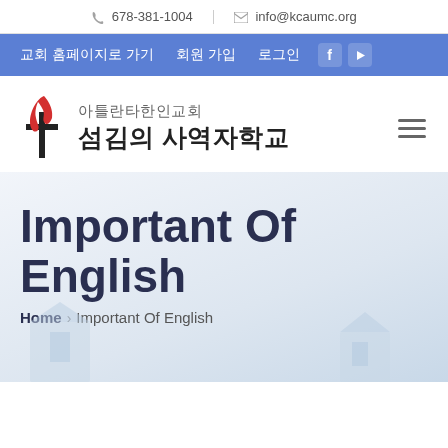678-381-1004  |  info@kcaumc.org
교회 홈페이지로 가기  회원 가입  로그인  f  ▶
[Figure (logo): United Methodist Church flame and cross logo with Korean text: 아틀란타한인교회 섬김의 사역자학교]
Important Of English
Home > Important Of English